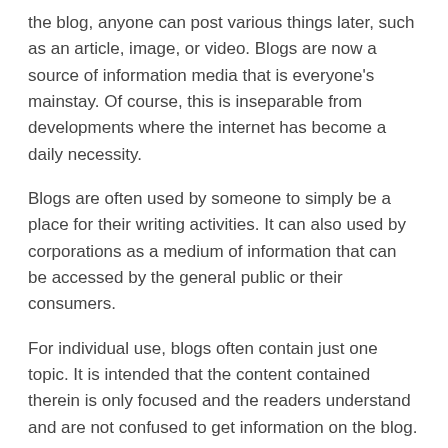the blog, anyone can post various things later, such as an article, image, or video. Blogs are now a source of information media that is everyone's mainstay. Of course, this is inseparable from developments where the internet has become a daily necessity.
Blogs are often used by someone to simply be a place for their writing activities. It can also used by corporations as a medium of information that can be accessed by the general public or their consumers.
For individual use, blogs often contain just one topic. It is intended that the content contained therein is only focused and the readers understand and are not confused to get information on the blog.
What is Blogging?
[Figure (photo): Blue gradient image banner with the word 'Guest' in large white text at the bottom left, partially cropped.]